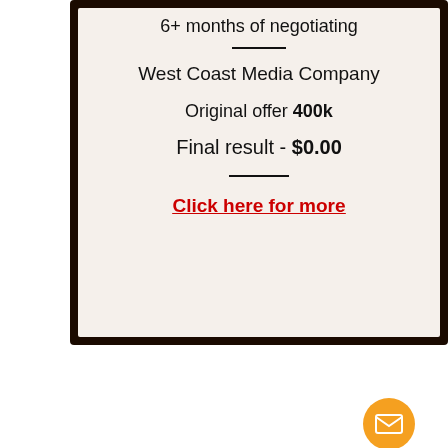6+ months of negotiating
West Coast Media Company
Original offer 400k
Final result - $0.00
Click here for more
[Figure (photo): Baseball and partial text reading FENSE on a white background with blue border, with an orange mail/envelope button overlay]